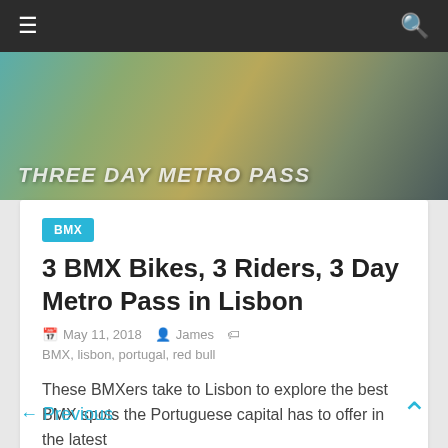≡  🔍
[Figure (photo): Hero banner image showing BMX riders in Lisbon with overlaid italic bold text 'THREE DAY METRO PASS' on a golden/teal blurred background]
BMX
3 BMX Bikes, 3 Riders, 3 Day Metro Pass in Lisbon
May 11, 2018  James  BMX, lisbon, portugal, red bull
These BMXers take to Lisbon to explore the best BMX spots the Portuguese capital has to offer in the latest
Read more
← Previous